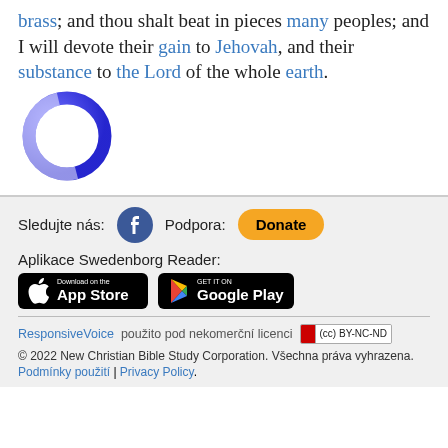brass; and thou shalt beat in pieces many peoples; and I will devote their gain to Jehovah, and their substance to the Lord of the whole earth.
[Figure (logo): Blue gradient circular ring logo (Swedenborg Reader app icon)]
Sledujte nás: [Facebook icon] Podpora: [Donate button]
Aplikace Swedenborg Reader:
[Figure (screenshot): App Store and Google Play download badges for Swedenborg Reader app]
ResponsiveVoice použito pod nekomerční licenci [CC BY-NC-ND badge]
© 2022 New Christian Bible Study Corporation. Všechna práva vyhrazena.
Podmínky použití | Privacy Policy.